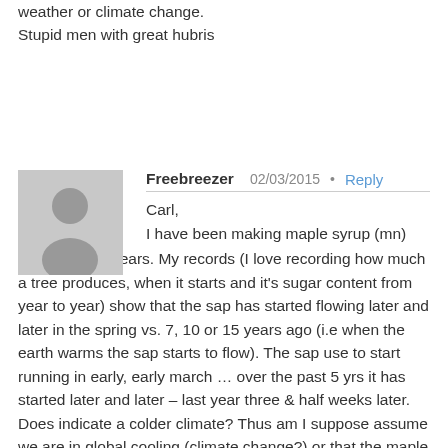weather or climate change.
Stupid men with great hubris
Freebreezer  02/03/2015  •  Reply
Carl,
I have been making maple syrup (mn) for he last 17 years. My records (I love recording how much a tree produces, when it starts and it's sugar content from year to year) show that the sap has started flowing later and later in the spring vs. 7, 10 or 15 years ago (i.e when the earth warms the sap starts to flow). The sap use to start running in early, early march … over the past 5 yrs it has started later and later – last year three & half weeks later. Does indicate a colder climate? Thus am I suppose assume we are in global cooling (climate change?) or that the maple trees are to dumb to know that they are suppose to start flowing earlier?